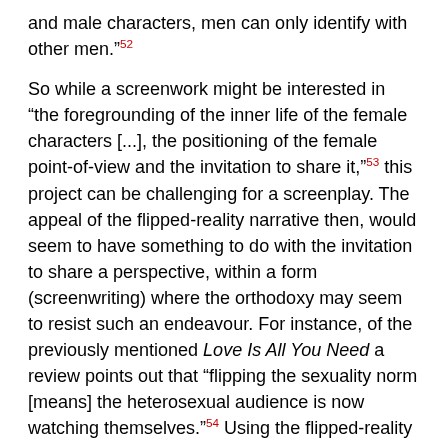and male characters, men can only identify with other men.”µ52
So while a screenwork might be interested in “the foregrounding of the inner life of the female characters [...], the positioning of the female point-of-view and the invitation to share it,”µ53 this project can be challenging for a screenplay. The appeal of the flipped-reality narrative then, would seem to have something to do with the invitation to share a perspective, within a form (screenwriting) where the orthodoxy may seem to resist such an endeavour. For instance, of the previously mentioned Love Is All You Need a review points out that “flipping the sexuality norm [means] the heterosexual audience is now watching themselves.”µ54 Using the flipped-reality is how the screenwriter ‘positioned’ a marginalised point-of-view.
As discussed previously, considering analyses by Kaplan and Horton in particular, notions of perspective and understandings of comedy are already intertwined. Therefore it may follow that the funny, female perspective is a particularly marginalised one, given the variables. When considering what Kaplan’s calls the comic non-hero, it is